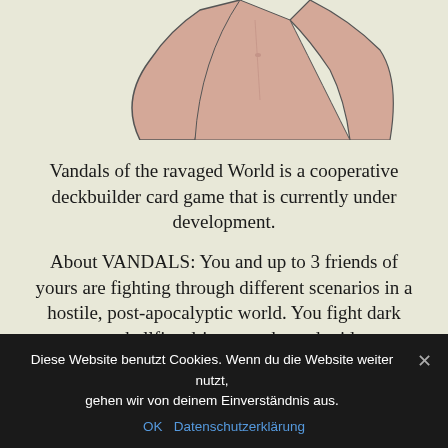[Figure (illustration): Partial illustration of a character torso (arms raised, bare skin visible) against a light beige/cream background]
Vandals of the ravaged World is a cooperative deckbuilder card game that is currently under development.
About VANDALS: You and up to 3 friends of yours are fighting through different scenarios in a hostile, post-apocalyptic world. You fight dark monsters, hellfire-driven mechs and raiders on every corner. Throughout the game, you will earn new cards
Diese Website benutzt Cookies. Wenn du die Website weiter nutzt, gehen wir von deinem Einverständnis aus.
OK  Datenschutzerklärung